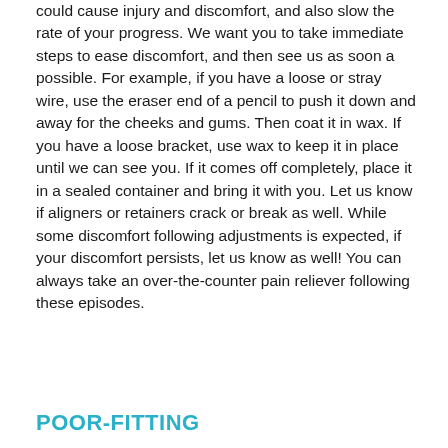could cause injury and discomfort, and also slow the rate of your progress. We want you to take immediate steps to ease discomfort, and then see us as soon a possible. For example, if you have a loose or stray wire, use the eraser end of a pencil to push it down and away for the cheeks and gums. Then coat it in wax. If you have a loose bracket, use wax to keep it in place until we can see you. If it comes off completely, place it in a sealed container and bring it with you. Let us know if aligners or retainers crack or break as well. While some discomfort following adjustments is expected, if your discomfort persists, let us know as well! You can always take an over-the-counter pain reliever following these episodes.
POOR-FITTING